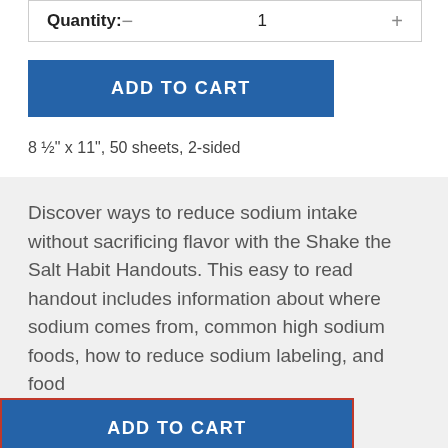Quantity: − 1 +
ADD TO CART
8 ½" x 11", 50 sheets, 2-sided
Discover ways to reduce sodium intake without sacrificing flavor with the Shake the Salt Habit Handouts. This easy to read handout includes information about where sodium comes from, common high sodium foods, how to reduce sodium labeling, and food
ADD TO CART